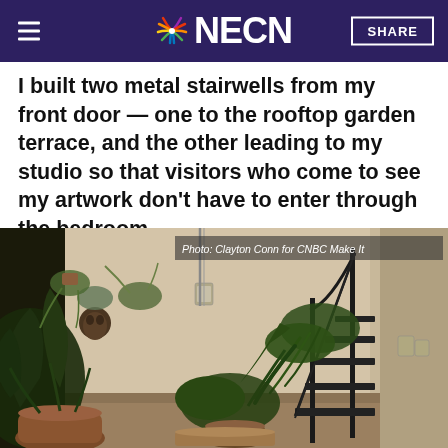NECN
I built two metal stairwells from my front door — one to the rooftop garden terrace, and the other leading to my studio so that visitors who come to see my artwork don't have to enter through the bedroom.
[Figure (photo): Interior courtyard with lush tropical plants and metal spiral staircase along a beige wall, with potted plants on terrace steps and floor level. Photo credit: Clayton Conn for CNBC Make It]
Photo: Clayton Conn for CNBC Make It